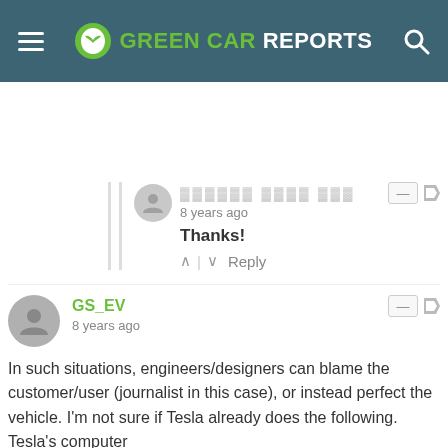GREEN CAR REPORTS
8 years ago
Thanks!
GS_EV
8 years ago
In such situations, engineers/designers can blame the customer/user (journalist in this case), or instead perfect the vehicle. I'm not sure if Tesla already does the following. Tesla's computer